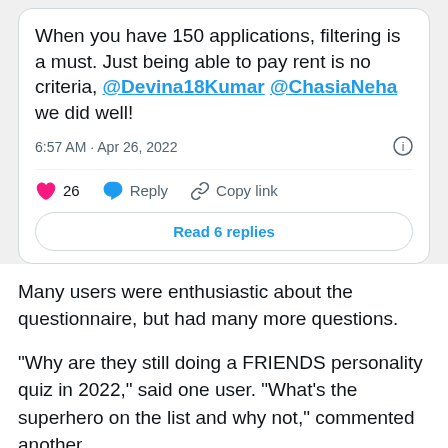[Figure (screenshot): Screenshot of a tweet from Apr 26, 2022 at 6:57 AM. Text: 'When you have 150 applications, filtering is a must. Just being able to pay rent is no criteria, @Devina18Kumar @ChasiaNeha we did well!' with 26 likes, Reply, Copy link, and Read 6 replies button.]
Many users were enthusiastic about the questionnaire, but had many more questions.
“Why are they still doing a FRIENDS personality quiz in 2022,” said one user. “What’s the superhero on the list and why not,” commented another.
Many people shared their own experience and said they would never comment on this nonsense.